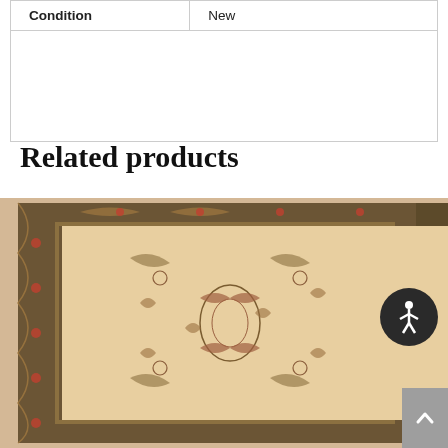| Condition | New |
| --- | --- |
| Condition | New |
Related products
[Figure (photo): A decorative Persian-style area rug with intricate floral and vine patterns, warm beige/cream background with dark green and rust red border design.]